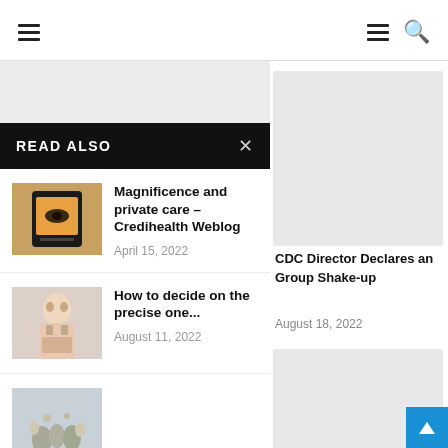Navigation header with hamburger menus and search icon
READ ALSO
[Figure (photo): Hand holding a smartphone showing eye close-up on screen]
Magnificence and private care – Credihealth Weblog
April 15, 2022
[Figure (photo): Woman with glasses looking worried, hands near face]
How to decide on the precise one...
August 11, 2022
[Figure (photo): Small bottles and flowers arrangement on gray background]
CDC Director Declares an Group Shake-up
August 18, 2022